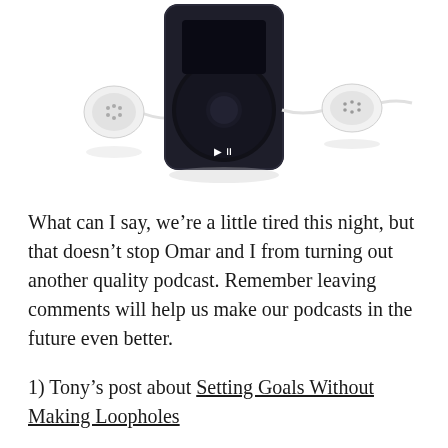[Figure (illustration): Black iPod nano with white earbuds/earphones on either side, showing the click wheel with media control buttons (previous, next, play/pause). The device is shown from the front against a white background with a subtle reflection beneath.]
What can I say, we're a little tired this night, but that doesn't stop Omar and I from turning out another quality podcast. Remember leaving comments will help us make our podcasts in the future even better.
1) Tony's post about Setting Goals Without Making Loopholes